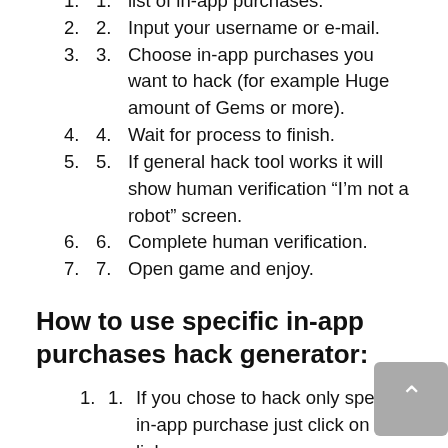list of in-app purchases.
Input your username or e-mail.
Choose in-app purchases you want to hack (for example Huge amount of Gems or more).
Wait for process to finish.
If general hack tool works it will show human verification “I’m not a robot” screen.
Complete human verification.
Open game and enjoy.
How to use specific in-app purchases hack generator:
If you chose to hack only specific in-app purchase just click on the link.
Read instructions on page and lick on